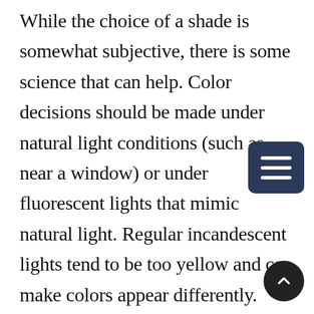While the choice of a shade is somewhat subjective, there is some science that can help. Color decisions should be made under natural light conditions (such as near a window) or under fluorescent lights that mimic natural light. Regular incandescent lights tend to be too yellow and can make colors appear differently. Patients may be asked to remove any bright lipstick or other makeup, as this